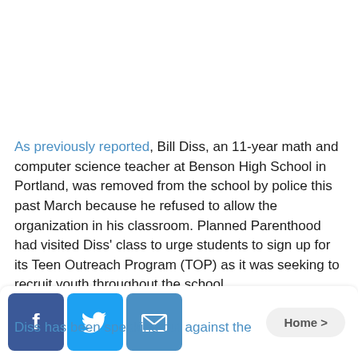As previously reported, Bill Diss, an 11-year math and computer science teacher at Benson High School in Portland, was removed from the school by police this past March because he refused to allow the organization in his classroom. Planned Parenthood had visited Diss' class to urge students to sign up for its Teen Outreach Program (TOP) as it was seeking to recruit youth throughout the school.
Diss has been speaking out against the